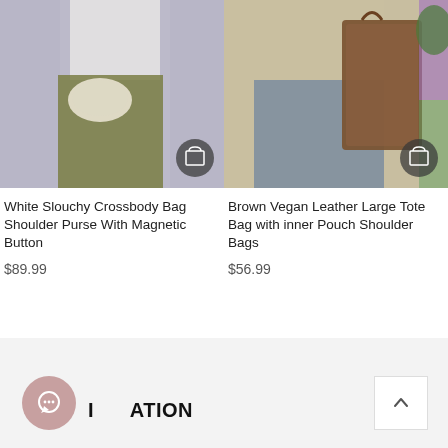[Figure (photo): Woman holding a white slouchy crossbody shoulder purse, wearing white crop top and olive green wide-leg pants]
[Figure (photo): Person sitting with a large brown vegan leather tote bag on their arm, indoor setting with plants]
White Slouchy Crossbody Bag Shoulder Purse With Magnetic Button
$89.99
Brown Vegan Leather Large Tote Bag with inner Pouch Shoulder Bags
$56.99
INFORMATION